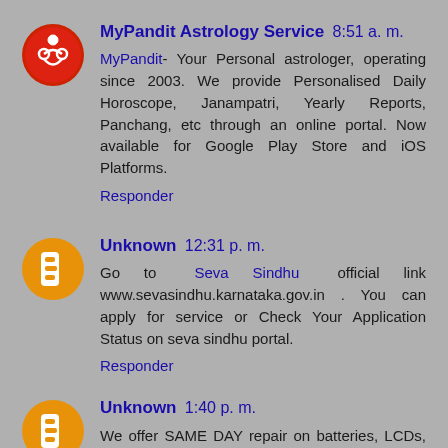[Figure (logo): MyPandit Astrology Service logo: red circle with white symbol]
MyPandit Astrology Service 8:51 a. m.
MyPandit- Your Personal astrologer, operating since 2003. We provide Personalised Daily Horoscope, Janampatri, Yearly Reports, Panchang, etc through an online portal. Now available for Google Play Store and iOS Platforms.
Responder
[Figure (logo): Unknown user Blogger orange circle avatar icon]
Unknown 12:31 p. m.
Go to Seva Sindhu official link www.sevasindhu.karnataka.gov.in . You can apply for service or Check Your Application Status on seva sindhu portal.
Responder
[Figure (logo): Unknown user Blogger orange circle avatar icon]
Unknown 1:40 p. m.
We offer SAME DAY repair on batteries, LCDs, we